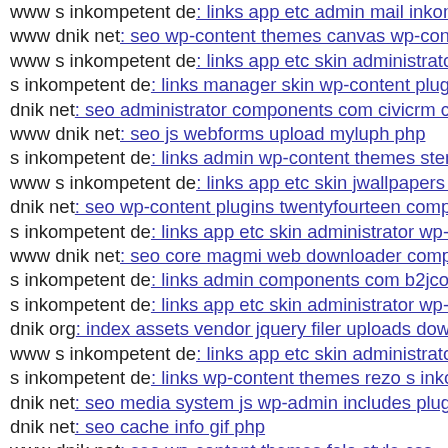www s inkompetent de: links app etc admin mail inkompetent de
www dnik net: seo wp-content themes canvas wp-content
www s inkompetent de: links app etc skin administrator wp-
s inkompetent de: links manager skin wp-content plugins v
dnik net: seo administrator components com civicrm civic
www dnik net: seo js webforms upload myluph php
s inkompetent de: links admin wp-content themes stendhal
www s inkompetent de: links app etc skin jwallpapers files
dnik net: seo wp-content plugins twentyfourteen compone
s inkompetent de: links app etc skin administrator wp-cont
www dnik net: seo core magmi web downloader compone
s inkompetent de: links admin components com b2jcontact
s inkompetent de: links app etc skin administrator wp-cont
dnik org: index assets vendor jquery filer uploads downloa
www s inkompetent de: links app etc skin administrator ad
s inkompetent de: links wp-content themes rezo s inkompe
dnik net: seo media system js wp-admin includes plugins c
dnik net: seo cache info gif php
www dnik net: seo wp-content themes folo style css
s inkompetent de: links app etc skin jwallpapers files plupl